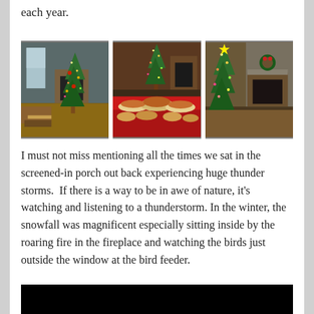each year.
[Figure (photo): Three photos side by side: left shows a living room with a decorated Christmas tree and fireplace; center shows a dining table spread with food platters and a Christmas tree in background; right shows another Christmas tree near a fireplace.]
I must not miss mentioning all the times we sat in the screened-in porch out back experiencing huge thunder storms. If there is a way to be in awe of nature, it's watching and listening to a thunderstorm. In the winter, the snowfall was magnificent especially sitting inside by the roaring fire in the fireplace and watching the birds just outside the window at the bird feeder.
[Figure (photo): Black image/bar at the bottom of the page, partial view.]